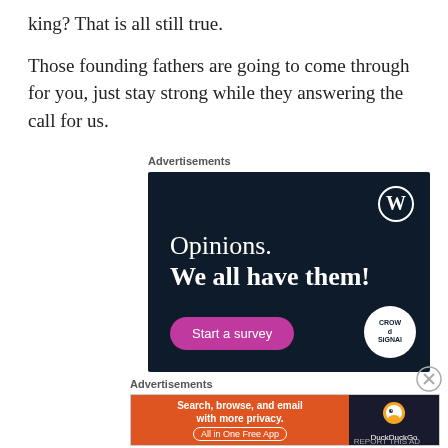king? That is all still true.
Those founding fathers are going to come through for you, just stay strong while they answering the call for us.
Advertisements
[Figure (screenshot): WordPress CrowdSignal advertisement with dark navy background. Shows WordPress logo (W in circle) top right. Text reads 'Opinions. We all have them!' with a pink 'Start a survey' button bottom left and CrowdSignal logo bottom right.]
Advertisements
[Figure (screenshot): DuckDuckGo advertisement. Orange left panel with text 'Search, browse, and email with more privacy. All in One Free App' and dark right panel with DuckDuckGo duck logo and name.]
REPORT THIS AD